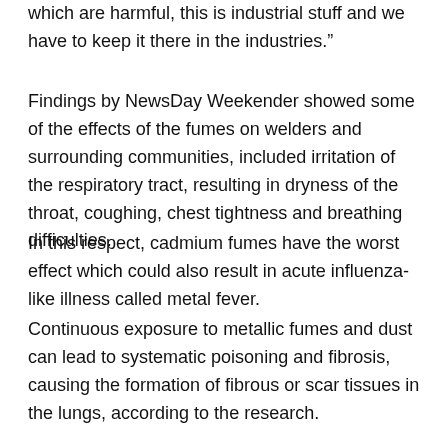which are harmful, this is industrial stuff and we have to keep it there in the industries.”
Findings by NewsDay Weekender showed some of the effects of the fumes on welders and surrounding communities, included irritation of the respiratory tract, resulting in dryness of the throat, coughing, chest tightness and breathing difficulties.
In this respect, cadmium fumes have the worst effect which could also result in acute influenza-like illness called metal fever.
Continuous exposure to metallic fumes and dust can lead to systematic poisoning and fibrosis, causing the formation of fibrous or scar tissues in the lungs, according to the research.